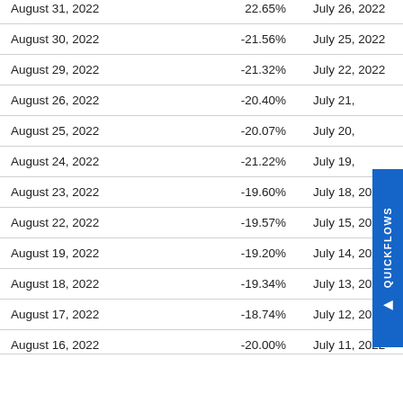| Date | Change % | Date2 |
| --- | --- | --- |
| August 31, 2022 | 22.65% | July 26, 2022 |
| August 30, 2022 | -21.56% | July 25, 2022 |
| August 29, 2022 | -21.32% | July 22, 2022 |
| August 26, 2022 | -20.40% | July 21, 2022 |
| August 25, 2022 | -20.07% | July 20, 2022 |
| August 24, 2022 | -21.22% | July 19, 2022 |
| August 23, 2022 | -19.60% | July 18, 2022 |
| August 22, 2022 | -19.57% | July 15, 2022 |
| August 19, 2022 | -19.20% | July 14, 2022 |
| August 18, 2022 | -19.34% | July 13, 2022 |
| August 17, 2022 | -18.74% | July 12, 2022 |